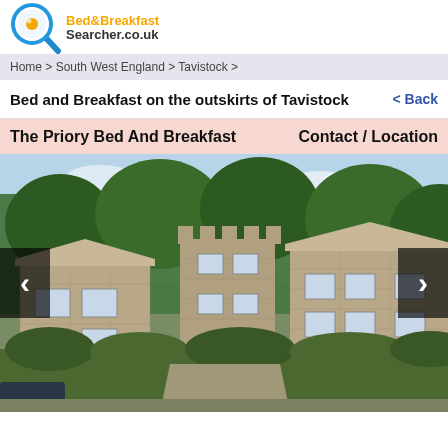[Figure (logo): Bed&Breakfast Searcher.co.uk logo with blue magnifying glass icon and orange/black text]
Home > South West England > Tavistock >
Bed and Breakfast on the outskirts of Tavistock
< Back
The Priory Bed And Breakfast
Contact / Location
[Figure (photo): Exterior photograph of The Priory Bed And Breakfast, a large stone building with castle-like battlements, surrounded by trees and hedges, with a dark wooden arched doorway entrance]